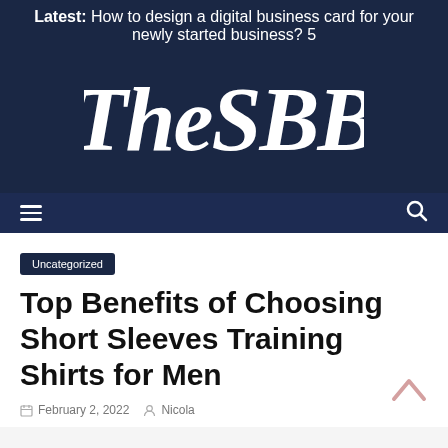Latest: How to design a digital business card for your newly started business? 5
[Figure (logo): TheSBB logo in stylized white font on dark navy background]
Uncategorized
Top Benefits of Choosing Short Sleeves Training Shirts for Men
February 2, 2022   Nicola